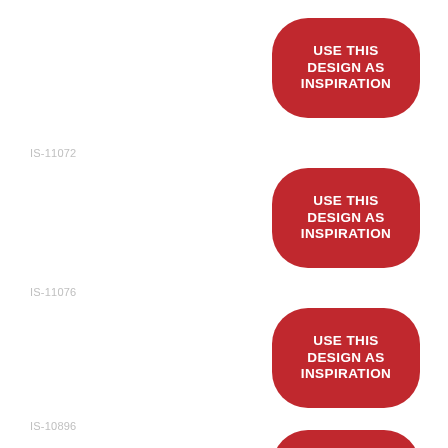[Figure (other): Red rounded rectangle badge with white bold text: USE THIS DESIGN AS INSPIRATION, top right area]
IS-11072
[Figure (other): Red rounded rectangle badge with white bold text: USE THIS DESIGN AS INSPIRATION, middle right area]
IS-11076
[Figure (other): Red rounded rectangle badge with white bold text: USE THIS DESIGN AS INSPIRATION, lower middle right area]
IS-10896
[Figure (other): Red rounded rectangle badge with white bold text: USE THIS (partially visible at bottom right)]